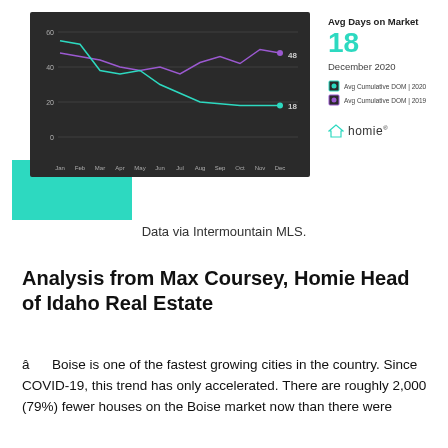[Figure (line-chart): Avg Days on Market]
Data via Intermountain MLS.
Analysis from Max Coursey, Homie Head of Idaho Real Estate
â¢ Boise is one of the fastest growing cities in the country. Since COVID-19, this trend has only accelerated. There are roughly 2,000 (79%) fewer houses on the Boise market now than there were